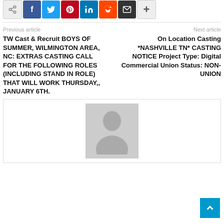[Figure (other): Social sharing button bar with share, Facebook, Twitter, Pinterest, LinkedIn, Reddit, Email, and plus buttons]
Previous article
Next article
TW Cast & Recruit BOYS OF SUMMER, WILMINGTON AREA, NC: EXTRAS CASTING CALL FOR THE FOLLOWING ROLES (INCLUDING STAND IN ROLE) THAT WILL WORK THURSDAY,, JANUARY 6TH.
On Location Casting *NASHVILLE TN* CASTING NOTICE Project Type: Digital Commercial Union Status: NON-UNION
[Figure (photo): Grey placeholder avatar image of a person silhouette]